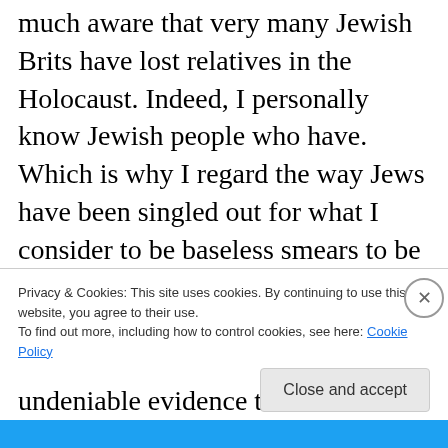much aware that very many Jewish Brits have lost relatives in the Holocaust. Indeed, I personally know Jewish people who have. Which is why I regard the way Jews have been singled out for what I consider to be baseless smears to be especially vile and abhorrent.

And there is abundant and undeniable evidence that Israel is a racist state. It
Privacy & Cookies: This site uses cookies. By continuing to use this website, you agree to their use.
To find out more, including how to control cookies, see here: Cookie Policy